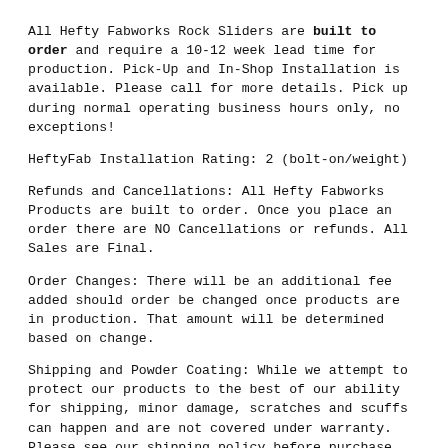All Hefty Fabworks Rock Sliders are built to order and require a 10-12 week lead time for production. Pick-Up and In-Shop Installation is available. Please call for more details. Pick up during normal operating business hours only, no exceptions!
HeftyFab Installation Rating: 2 (bolt-on/weight)
Refunds and Cancellations: All Hefty Fabworks Products are built to order. Once you place an order there are NO Cancellations or refunds. All Sales are Final.
Order Changes: There will be an additional fee added should order be changed once products are in production. That amount will be determined based on change.
Shipping and Powder Coating: While we attempt to protect our products to the best of our ability for shipping, minor damage, scratches and scuffs can happen and are not covered under warranty. Please see our shipping policy before purchase. If you are adamant about not having any powder coat damage we recommend purchasing the products raw and having them coated locally. Damage is rare and typically minor and can be easily fixed...